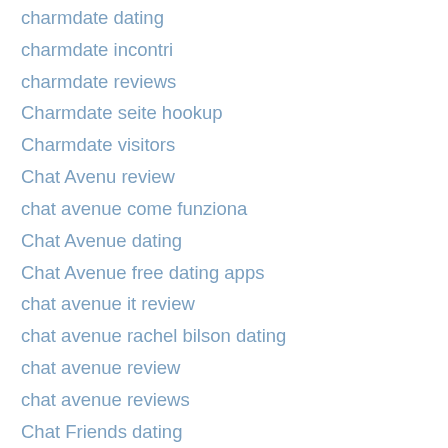charmdate dating
charmdate incontri
charmdate reviews
Charmdate seite hookup
Charmdate visitors
Chat Avenu review
chat avenue come funziona
Chat Avenue dating
Chat Avenue free dating apps
chat avenue it review
chat avenue rachel bilson dating
chat avenue review
chat avenue reviews
Chat Friends dating
Chat Friends seite hookup
chat hour it review
Chat Hour link
chat hour reviews